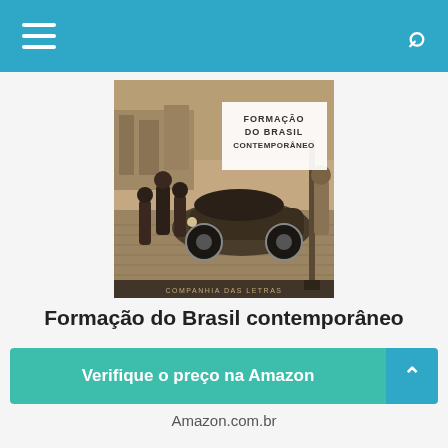Navigation bar with hamburger menu and search icon
[Figure (photo): Book cover of 'Formação do Brasil Contemporâneo' published by Companhia das Letras. Cover shows a sepia-toned vintage photograph of people gathered around a 1930s/40s car on a cobblestone street in Brazil. The book title appears in uppercase letters on a white overlay in the upper right portion of the cover.]
Formação do Brasil contemporâneo
Verifique o preço na Amazon
Amazon.com.br